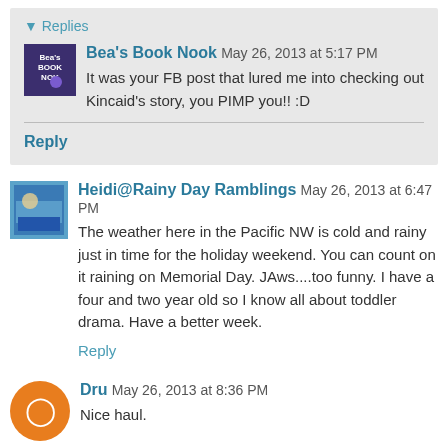▾ Replies
Bea's Book Nook May 26, 2013 at 5:17 PM
It was your FB post that lured me into checking out Kincaid's story, you PIMP you!! :D
Reply
Heidi@Rainy Day Ramblings May 26, 2013 at 6:47 PM
The weather here in the Pacific NW is cold and rainy just in time for the holiday weekend. You can count on it raining on Memorial Day. JAws....too funny. I have a four and two year old so I know all about toddler drama. Have a better week.
Reply
Dru May 26, 2013 at 8:36 PM
Nice haul.